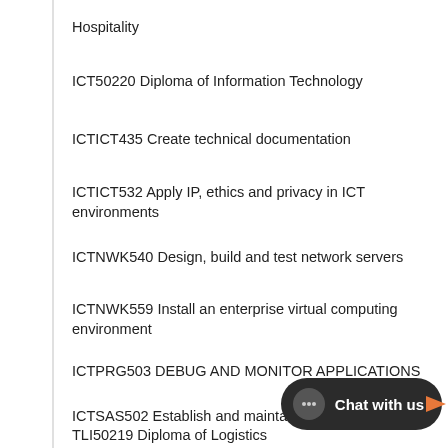Hospitality
ICT50220 Diploma of Information Technology
ICTICT435 Create technical documentation
ICTICT532 Apply IP, ethics and privacy in ICT environments
ICTNWK540 Design, build and test network servers
ICTNWK559 Install an enterprise virtual computing environment
ICTPRG503 DEBUG AND MONITOR APPLICATIONS
ICTSAS502 Establish and maintai…
TLI50219 Diploma of Logistics